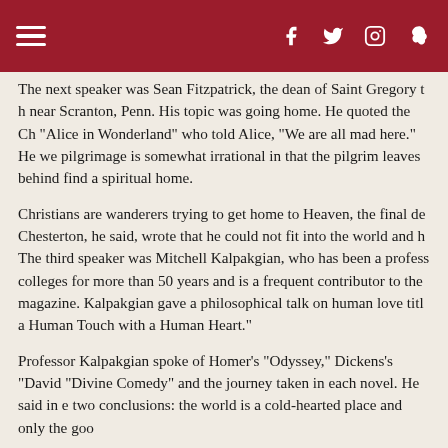Navigation and social media header bar
The next speaker was Sean Fitzpatrick, the dean of Saint Gregory the Great Academy near Scranton, Penn. His topic was going home. He quoted the Cheshire Cat in "Alice in Wonderland" who told Alice, "We are all mad here." He went on to say that pilgrimage is somewhat irrational in that the pilgrim leaves behind home in order to find a spiritual home.
Christians are wanderers trying to get home to Heaven, the final destination. Chesterton, he said, wrote that he could not fit into the world and felt out of place. The third speaker was Mitchell Kalpakgian, who has been a professor at Catholic colleges for more than 50 years and is a frequent contributor to the Register magazine. Kalpakgian gave a philosophical talk on human love titled "Touching a Human Touch with a Human Heart."
Professor Kalpakgian spoke of Homer's "Odyssey," Dickens's "David Copperfield," "Divine Comedy" and the journey taken in each novel. He said in each story there are two conclusions: the world is a cold-hearted place and only the goo...